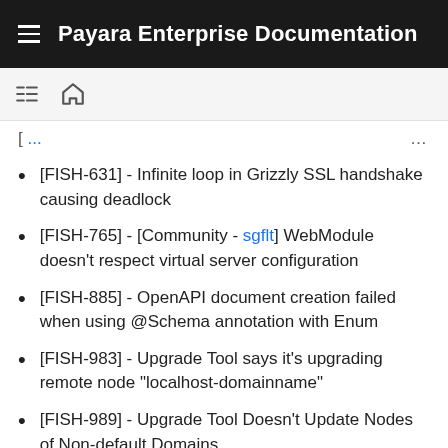Payara Enterprise Documentation
[FISH-631] - Infinite loop in Grizzly SSL handshake causing deadlock
[FISH-765] - [Community - sgflt] WebModule doesn't respect virtual server configuration
[FISH-885] - OpenAPI document creation failed when using @Schema annotation with Enum
[FISH-983] - Upgrade Tool says it's upgrading remote node "localhost-domainname"
[FISH-989] - Upgrade Tool Doesn't Update Nodes of Non-default Domains
[FISH-990] - OpenTracing Active Span is NULL...